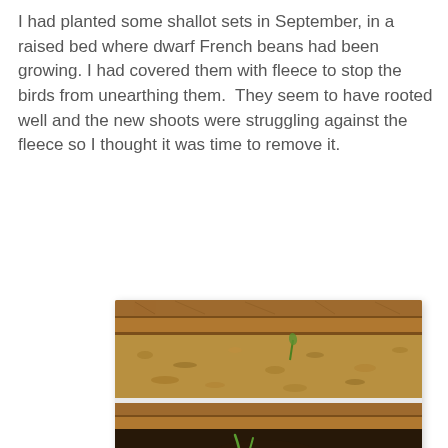I had planted some shallot sets in September, in a raised bed where dwarf French beans had been growing. I had covered them with fleece to stop the birds from unearthing them.  They seem to have rooted well and the new shoots were struggling against the fleece so I thought it was time to remove it.
[Figure (photo): Photograph of a raised garden bed showing shallot shoots emerging from dark soil. The upper portion shows the wooden frame of the raised bed with mulch/compost, and the lower portion shows green shallot shoots sprouting from dark earth scattered with white shell fragments.]